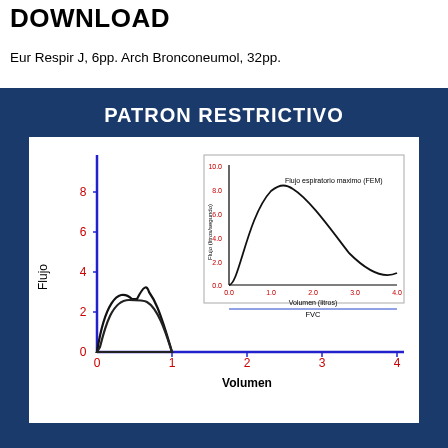DOWNLOAD
Eur Respir J, 6pp. Arch Bronconeumol, 32pp.
[Figure (continuous-plot): Flow-volume curve showing restrictive pattern (PATRON RESTRICTIVO). Main plot shows Flujo (flow) on y-axis (0-8) vs Volumen (volume) on x-axis (0-4), with a narrow loop peaking around flow=2.5 at volume 0.4-1. Inset shows Flujo expiratorio maximo (FEM) curve rising steeply to peak ~8.5 then declining, with x-axis Volumen (litros) 0-4 and y-axis Flujo (litros/segundo) 0-10, with FVC label.]